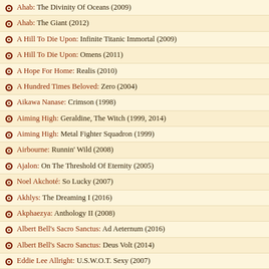Ahab: The Divinity Of Oceans (2009)
Ahab: The Giant (2012)
A Hill To Die Upon: Infinite Titanic Immortal (2009)
A Hill To Die Upon: Omens (2011)
A Hope For Home: Realis (2010)
A Hundred Times Beloved: Zero (2004)
Aikawa Nanase: Crimson (1998)
Aiming High: Geraldine, The Witch (1999, 2014)
Aiming High: Metal Fighter Squadron (1999)
Airbourne: Runnin' Wild (2008)
Ajalon: On The Threshold Of Eternity (2005)
Noel Akchoté: So Lucky (2007)
Akhlys: The Dreaming I (2016)
Akphaezya: Anthology II (2008)
Albert Bell's Sacro Sanctus: Ad Aeternum (2016)
Albert Bell's Sacro Sanctus: Deus Volt (2014)
Eddie Lee Allright: U.S.W.O.T. Sexy (2007)